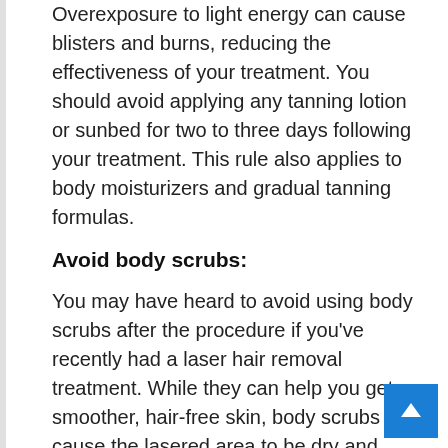Overexposure to light energy can cause blisters and burns, reducing the effectiveness of your treatment. You should avoid applying any tanning lotion or sunbed for two to three days following your treatment. This rule also applies to body moisturizers and gradual tanning formulas.
Avoid body scrubs:
You may have heard to avoid using body scrubs after the procedure if you've recently had a laser hair removal treatment. While they can help you get smoother, hair-free skin, body scrubs can cause the lasered area to be dry and rough. A good body scrub should be gentle enough to exfoliate the area without leaving it feeling dry. You should use gentle exfoliation products on the area for two to thr days after the laser hair removal procedure.